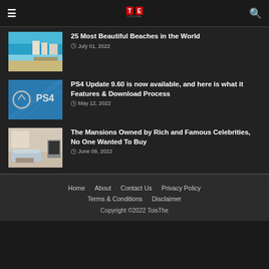≡  [Logo: ToisThe]  🔍
[Figure (photo): Aerial view of a beach with buildings and turquoise water]
25 Most Beautiful Beaches in the World
July 01, 2022
[Figure (photo): PS4 logo on a blue background]
PS4 Update 9.60 is now available, and here is what it Features & Download Process
May 12, 2022
[Figure (photo): Interior of a luxury mansion living room]
The Mansions Owned by Rich and Famous Celebrities, No One Wanted To Buy
June 09, 2022
Home   About   Contact Us   Privacy Policy   Terms & Conditions   Disclaimer   Copyright ©2022 ToisThe